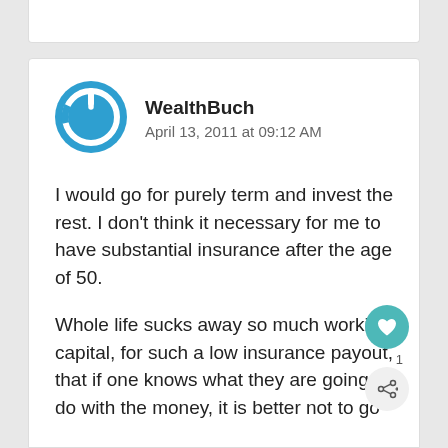[Figure (logo): WealthBuch avatar: blue circle with white power/on button icon]
WealthBuch
April 13, 2011 at 09:12 AM
I would go for purely term and invest the rest. I don't think it necessary for me to have substantial insurance after the age of 50.
Whole life sucks away so much working capital, for such a low insurance payout, that if one knows what they are going to do with the money, it is better not to go